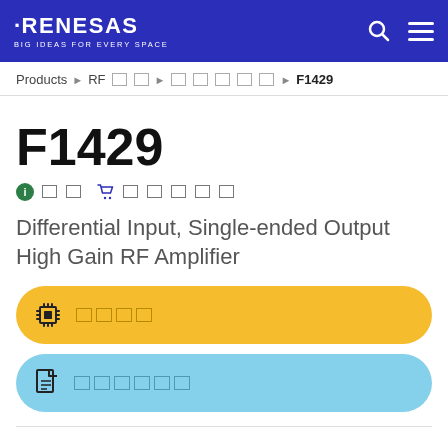RENESAS — BIG IDEAS FOR EVERY SPACE
Products ▶ RF □□ ▶ □□□□□ ▶ F1429
F1429
ℹ □□  🛒 □□□□□
Differential Input, Single-ended Output High Gain RF Amplifier
□□□□ (Buy button)
□□□□□□ (Datasheet button)